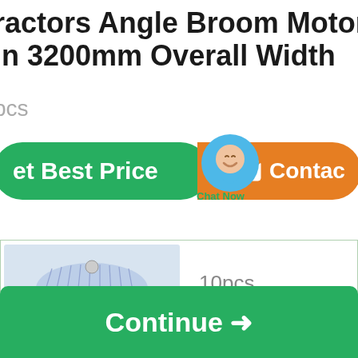ractors Angle Broom Motor Flow in 3200mm Overall Width
pcs
[Figure (screenshot): Get Best Price green button and Contact orange button with chat bubble overlay showing Chat Now]
| [product image] | 10pcs |
[Figure (screenshot): Continue button with arrow]